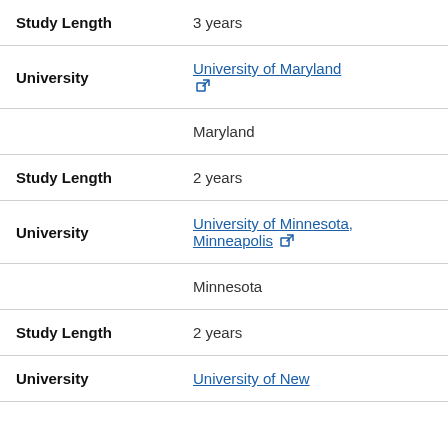| Study Length | 3 years |
| University | University of Maryland [external link] |
|  | Maryland |
| Study Length | 2 years |
| University | University of Minnesota, Minneapolis [external link] |
|  | Minnesota |
| Study Length | 2 years |
| University | University of New [truncated] |